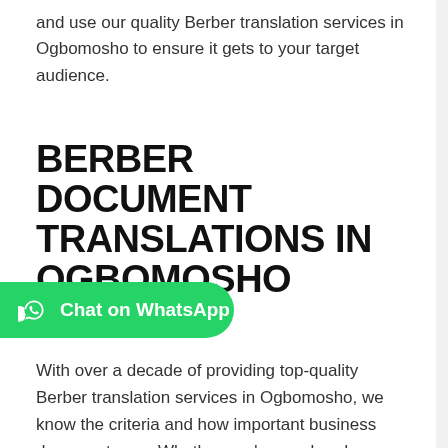and use our quality Berber translation services in Ogbomosho to ensure it gets to your target audience.
BERBER DOCUMENT TRANSLATIONS IN OGBOMOSHO
[Figure (other): Green WhatsApp button with WhatsApp logo icon and text 'Chat on WhatsApp']
With over a decade of providing top-quality Berber translation services in Ogbomosho, we know the criteria and how important business documents are. Whether you're an already established or aspiring brand, you need to get your documents translated to Berber. We're highly sorted by some of the world's biggest companies because of our quality Berber